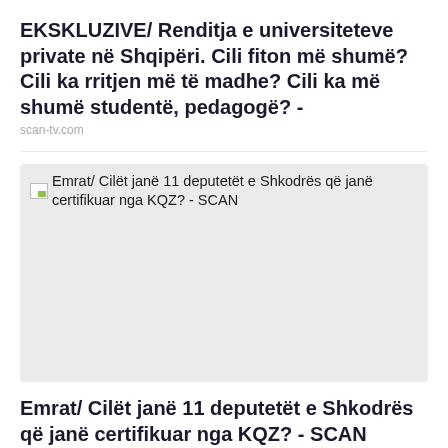EKSKLUZIVE/ Renditja e universiteteve private në Shqipëri. Cili fiton më shumë? Cili ka rritjen më të madhe? Cili ka më shumë studentë, pedagogë? -
scan-tv.com
[Figure (photo): Broken image placeholder with text: Emrat/ Cilët janë 11 deputetët e Shkodrës që janë certifikuar nga KQZ? - SCAN]
Emrat/ Cilët janë 11 deputetët e Shkodrës që janë certifikuar nga KQZ? - SCAN
scan-tv.com